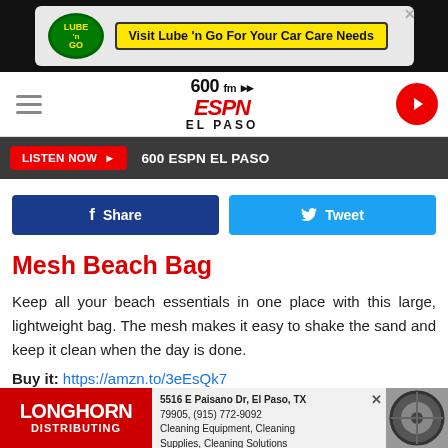[Figure (screenshot): Lube n Go advertisement banner: logo and text 'Visit Lube n Go For Your Car Care Needs']
[Figure (logo): 600 FM ESPN El Paso radio station logo with nav bar and hamburger menu and play button]
LISTEN NOW ▶  600 ESPN EL PASO
[Figure (other): Facebook Share button and Twitter Tweet button]
Mesh Beach Bag
Keep all your beach essentials in one place with this large, lightweight bag. The mesh makes it easy to shake the sand and keep it clean when the day is done.
Buy it: https://amzn.to/3eEsQk7
[Figure (screenshot): Longhorn Distributing advertisement: 5516 E Paisano Dr, El Paso, TX 79905, (915) 772-9092, Cleaning Equipment, Cleaning Supplies, Cleaning Solutions]